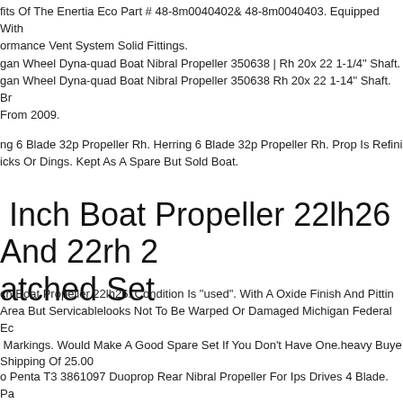fits Of The Enertia Eco Part # 48-8m0040402& 48-8m0040403. Equipped With ormance Vent System Solid Fittings.
gan Wheel Dyna-quad Boat Nibral Propeller 350638 | Rh 20x 22 1-1/4" Shaft. gan Wheel Dyna-quad Boat Nibral Propeller 350638 Rh 20x 22 1-14" Shaft. Br From 2009.
ng 6 Blade 32p Propeller Rh. Herring 6 Blade 32p Propeller Rh. Prop Is Refini icks Or Dings. Kept As A Spare But Sold Boat.
Inch Boat Propeller 22lh26 And 22rh 2 atched Set
ch Boat Propeller 22lh26. Condition Is "used". With A Oxide Finish And Pittin Area But Servicablelooks Not To Be Warped Or Damaged Michigan Federal Ec Markings. Would Make A Good Spare Set If You Don't Have One.heavy Buye Shipping Of 25.00
o Penta T3 3861097 Duoprop Rear Nibral Propeller For Ips Drives 4 Blade. Pa ber - 3861097. Material - Nibral. Manufacturer - Volvo Penta Marine. Size - T3 N